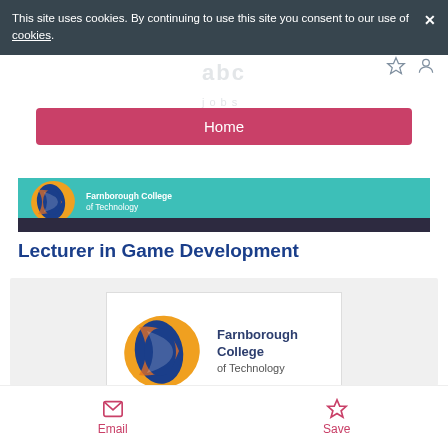This site uses cookies. By continuing to use this site you consent to our use of cookies.
abc jobs | Home
Lecturer in Game Development
[Figure (logo): Farnborough College of Technology logo and banner – teal header with dark bar, and standalone logo with orange/blue oval graphic and text 'Farnborough College of Technology']
Email | Save